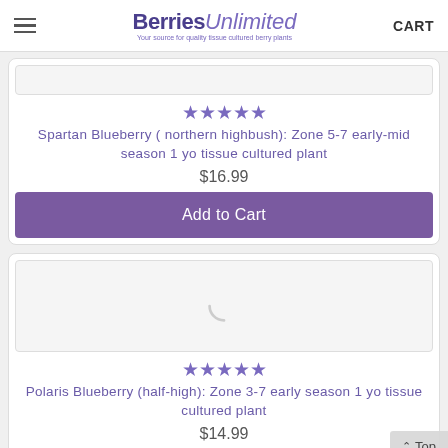Berries Unlimited - Your source for quality tissue cultured berry plants | CART
[Figure (screenshot): Loading spinner / partially visible product image area for first card]
★★★★★
Spartan Blueberry ( northern highbush): Zone 5-7 early-mid season 1 yo tissue cultured plant
$16.99
Add to Cart
[Figure (screenshot): Loading spinner for second product image]
★★★★★
Polaris Blueberry (half-high): Zone 3-7 early season 1 yo tissue cultured plant
$14.99